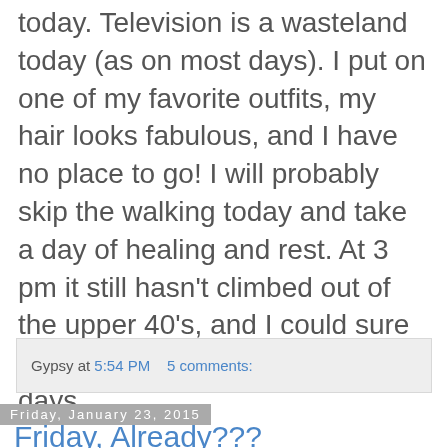today.  Television is a wasteland today (as on most days).  I put on one of my favorite outfits, my hair looks fabulous, and I have no place to go!  I will probably skip the walking today and take a day of healing and rest.  At 3 pm it still hasn't climbed out of the upper 40's, and I could sure use just one or two nice warm days.
Gypsy at 5:54 PM    5 comments:
Friday, January 23, 2015
Friday, Already???